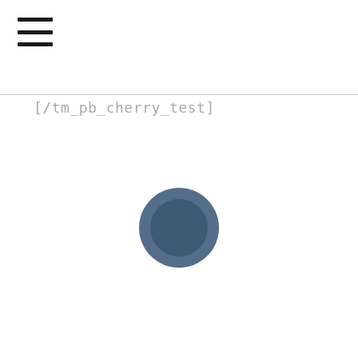[Figure (other): Hamburger menu icon — three horizontal black lines stacked vertically]
[/tm_pb_cherry_test]
[Figure (other): Loading spinner — circular icon with dark steel-blue outer ring and darker inner circle, indicating a page loading state]